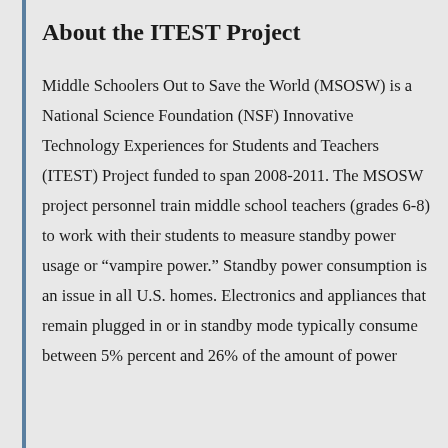About the ITEST Project
Middle Schoolers Out to Save the World (MSOSW) is a National Science Foundation (NSF) Innovative Technology Experiences for Students and Teachers (ITEST) Project funded to span 2008-2011. The MSOSW project personnel train middle school teachers (grades 6-8) to work with their students to measure standby power usage or “vampire power.” Standby power consumption is an issue in all U.S. homes. Electronics and appliances that remain plugged in or in standby mode typically consume between 5% percent and 26% of the amount of power